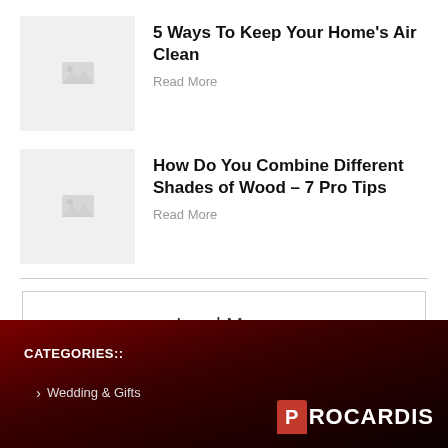5 Ways To Keep Your Home's Air Clean
Read More
How Do You Combine Different Shades of Wood – 7 Pro Tips
Read More
Load More
CATEGORIES::
Wedding & Gifts
[Figure (logo): Procardis logo with red P icon and white text]